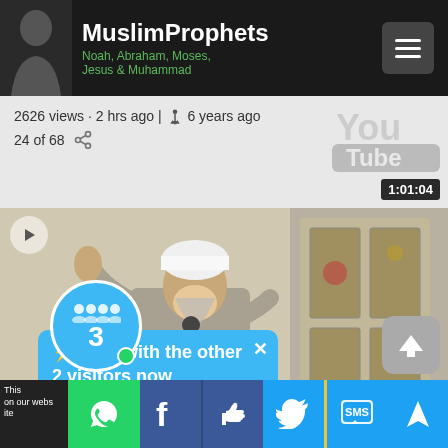MuslimProphets – Noah, Abraham, Moses, Jesus & Muhammad
2626 views · 2 hrs ago | 6 years ago
24 of 68
[Figure (screenshot): YouTube video thumbnail showing a speaker in a white turban at a microphone, with timer 1:01:04]
Abraham (Lives of the Prophets) – Hasan Ali 5/7
[Figure (screenshot): Chat bubble overlay: ⚡ Chat with the other 2 visitors now]
AHAM label partially visible
This [site] on our webs[ite]